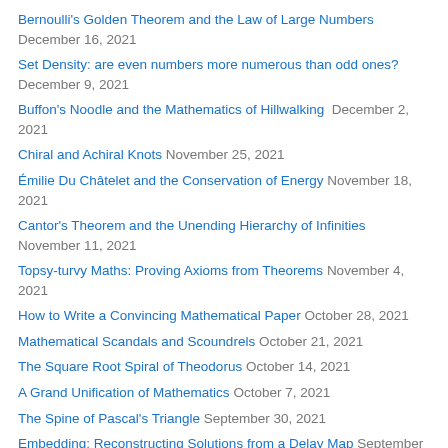Bernoulli's Golden Theorem and the Law of Large Numbers December 16, 2021
Set Density: are even numbers more numerous than odd ones? December 9, 2021
Buffon's Noodle and the Mathematics of Hillwalking December 2, 2021
Chiral and Achiral Knots November 25, 2021
Émilie Du Châtelet and the Conservation of Energy November 18, 2021
Cantor's Theorem and the Unending Hierarchy of Infinities November 11, 2021
Topsy-turvy Maths: Proving Axioms from Theorems November 4, 2021
How to Write a Convincing Mathematical Paper October 28, 2021
Mathematical Scandals and Scoundrels October 21, 2021
The Square Root Spiral of Theodorus October 14, 2021
A Grand Unification of Mathematics October 7, 2021
The Spine of Pascal's Triangle September 30, 2021
Embedding: Reconstructing Solutions from a Delay Map September 23, 2021
Categories